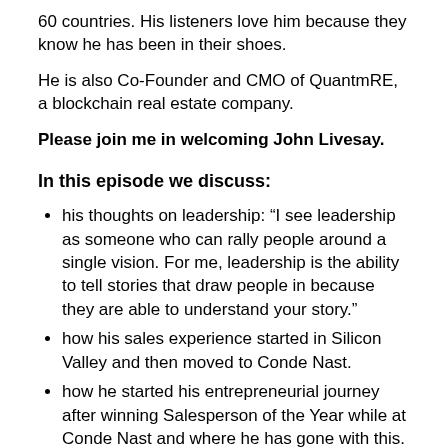60 countries. His listeners love him because they know he has been in their shoes.
He is also Co-Founder and CMO of QuantmRE, a blockchain real estate company.
Please join me in welcoming John Livesay.
In this episode we discuss:
his thoughts on leadership: “I see leadership as someone who can rally people around a single vision. For me, leadership is the ability to tell stories that draw people in because they are able to understand your story.”
how his sales experience started in Silicon Valley and then moved to Conde Nast.
how he started his entrepreneurial journey after winning Salesperson of the Year while at Conde Nast and where he has gone with this.
his methods of staying connected with people by sharing articles.
how important storytelling is in sales and networking.
the four parts to a story, to help you tell stories that